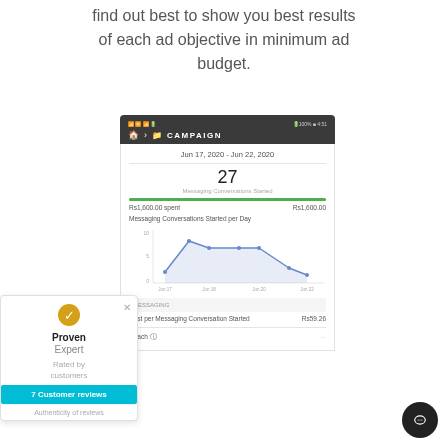find out best to show you best results of each ad objective in minimum ad budget.
[Figure (screenshot): Mobile app screenshot showing a Facebook Ads campaign dashboard with date range Jun 17, 2020 - Jun 22, 2020, 27 Messaging Conversations Started, Rs1,600.00 spent, a line chart of Messaging Conversations Started per Day, and a metrics section showing Cost per Messaging Conversation Started Rs59.26]
[Figure (other): ProvenExpert widget showing gold checkmark badge, Proven Expert branding, Rated by customers text, 7 Customer reviews button in teal, and Authenticity of reviews link]
[Figure (other): Dark circular chat button in bottom right corner]